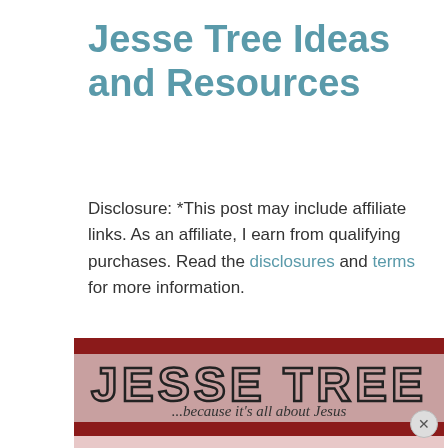Jesse Tree Ideas and Resources
Disclosure: *This post may include affiliate links. As an affiliate, I earn from qualifying purchases. Read the disclosures and terms for more information.
[Figure (illustration): A decorative banner image with a dark red stripe on top, a mauve/pink background with large bold outlined text reading 'JESSE TREE' and script text below reading '...because it's all about Jesus', followed by another dark red stripe and white snowflake/tree branch decorations on a light pink background.]